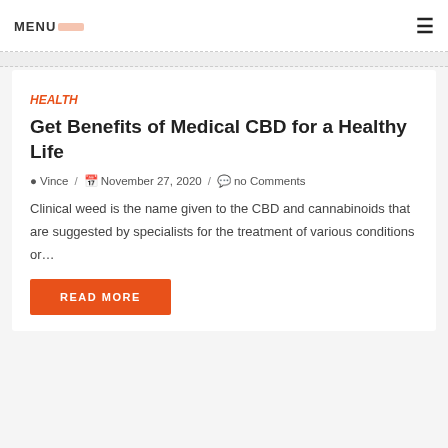MENU
HEALTH
Get Benefits of Medical CBD for a Healthy Life
Vince / November 27, 2020 / no Comments
Clinical weed is the name given to the CBD and cannabinoids that are suggested by specialists for the treatment of various conditions or…
READ MORE